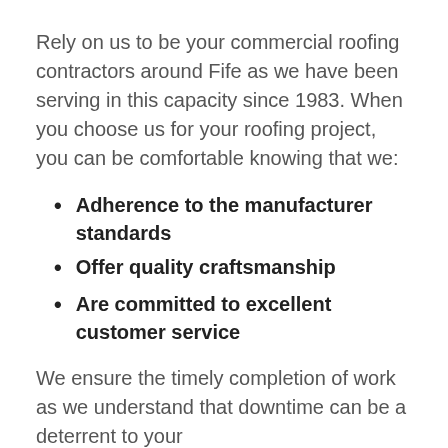Rely on us to be your commercial roofing contractors around Fife as we have been serving in this capacity since 1983. When you choose us for your roofing project, you can be comfortable knowing that we:
Adherence to the manufacturer standards
Offer quality craftsmanship
Are committed to excellent customer service
We ensure the timely completion of work as we understand that downtime can be a deterrent to your